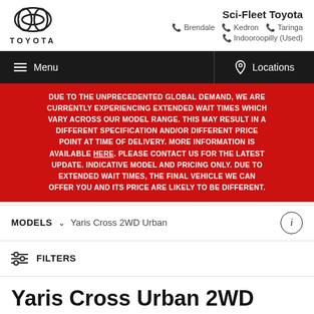Sci-Fleet Toyota — Brendale, Kedron, Taringa, Indooroopilly (Used)
Menu | Locations
DUE TO THE UNPRECEDENTED GLOBAL DEMAND, WE ARE CURRENTLY EXPERIENCING EXTENDED WAIT TIMES WHICH VARY ACROSS OUR MODEL RANGE. THIS MAY RESULT IN A DIFFERENT SPECIFICATION AND/OR DIFFERENT PRICE POINT AT TIME OF DELIVERY. MORE INFORMATION IS AVAILABLE HERE. PLEASE CONTACT US FOR THE LATEST UPDATE. INDICATIVE MODEL AND PRICING ONLY. DUE TO EXTENDED WAIT TIMES, THE FINAL VEHICLE WE CAN OFFER YOU AND ITS PRICE ARE LIKELY TO BE DIFFERENT.
MODELS  Yaris Cross 2WD Urban
FILTERS
Yaris Cross Urban 2WD